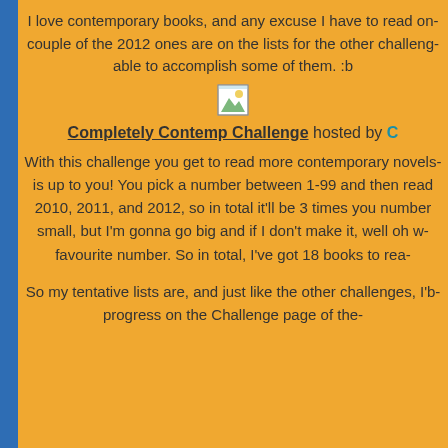I love contemporary books, and any excuse I have to read on- couple of the 2012 ones are on the lists for the other challeng- able to accomplish some of them. :b
[Figure (photo): Small broken/placeholder image icon]
Completely Contemp Challenge hosted by C
With this challenge you get to read more contemporary novels- is up to you! You pick a number between 1-99 and then read 2010, 2011, and 2012, so in total it'll be 3 times you number small, but I'm gonna go big and if I don't make it, well oh w- favourite number. So in total, I've got 18 books to rea-
So my tentative lists are, and just like the other challenges, I'b- progress on the Challenge page of the-